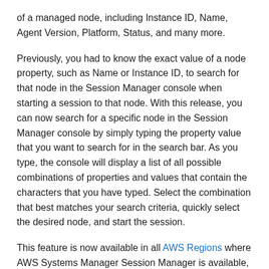of a managed node, including Instance ID, Name, Agent Version, Platform, Status, and many more.
Previously, you had to know the exact value of a node property, such as Name or Instance ID, to search for that node in the Session Manager console when starting a session to that node. With this release, you can now search for a specific node in the Session Manager console by simply typing the property value that you want to search for in the search bar. As you type, the console will display a list of all possible combinations of properties and values that contain the characters that you have typed. Select the combination that best matches your search criteria, quickly select the desired node, and start the session.
This feature is now available in all AWS Regions where AWS Systems Manager Session Manager is available, except in the AWS China Regions. To learn more about Session Manager, see the Session Manager documentation. For information about AWS Systems Manager, see our product detail page.